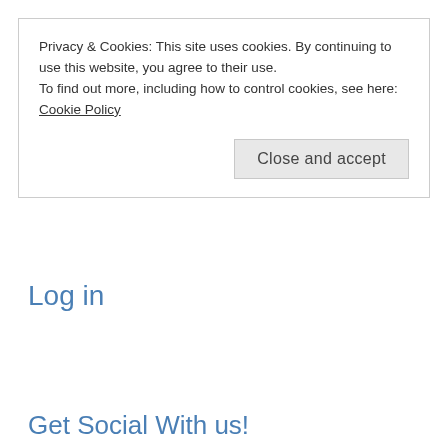Privacy & Cookies: This site uses cookies. By continuing to use this website, you agree to their use.
To find out more, including how to control cookies, see here:
Cookie Policy
Close and accept
Log in
Get Social With us!